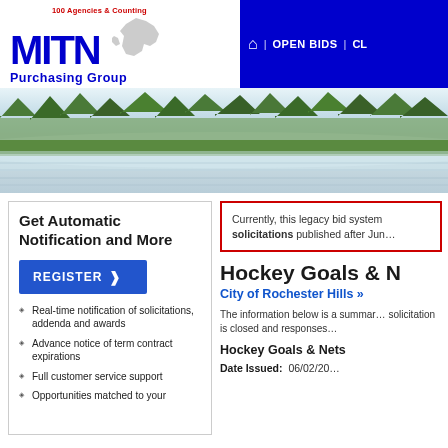[Figure (logo): MITN Purchasing Group logo with Michigan state silhouette and tagline '100 Agencies & Counting']
OPEN BIDS | C…
[Figure (photo): Landscape banner photo showing a misty lake with forested shoreline and pine trees]
Get Automatic Notification and More
REGISTER ❯
Real-time notification of solicitations, addenda and awards
Advance notice of term contract expirations
Full customer service support
Opportunities matched to your
Currently, this legacy bid system … solicitations published after Jun…
Hockey Goals & N…
City of Rochester Hills »
The information below is a summar… solicitation is closed and responses…
Hockey Goals & Nets
Date Issued: 06/02/20…